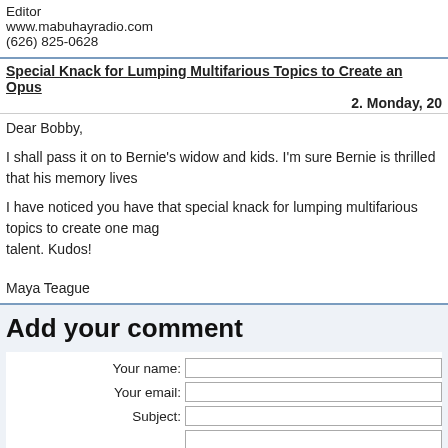Editor
www.mabuhayradio.com
(626) 825-0628
Special Knack for Lumping Multifarious Topics to Create an Opus
2. Monday, 20...
Dear Bobby,
I shall pass it on to Bernie's widow and kids. I'm sure Bernie is thrilled that his memory lives
I have noticed you have that special knack for lumping multifarious topics to create one mag... talent. Kudos!
Maya Teague
Add your comment
Your name:
Your email:
Subject:
Comment (you may use HTML tags here):